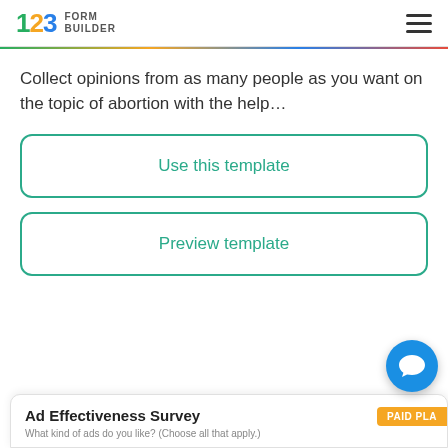123 FORM BUILDER
Collect opinions from as many people as you want on the topic of abortion with the help...
Use this template
Preview template
Ad Effectiveness Survey
PAID PLAN
What kind of ads do you like? (Choose all that apply.)